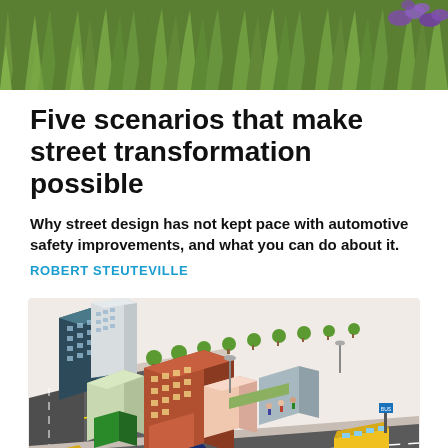[Figure (photo): Close-up photograph of green grass/ornamental plants with purple flowers visible at top right corner]
Five scenarios that make street transformation possible
Why street design has not kept pace with automotive safety improvements, and what you can do about it.
ROBERT STEUTEVILLE
[Figure (illustration): Isometric illustration of an urban street scene with buildings, trees, vehicles, pedestrians, and city infrastructure showing a transformed street design]